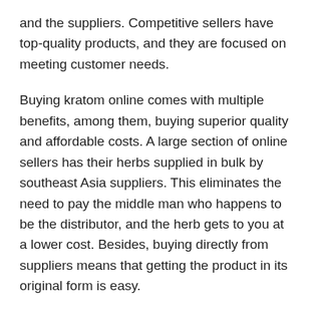and the suppliers. Competitive sellers have top-quality products, and they are focused on meeting customer needs.
Buying kratom online comes with multiple benefits, among them, buying superior quality and affordable costs. A large section of online sellers has their herbs supplied in bulk by southeast Asia suppliers. This eliminates the need to pay the middle man who happens to be the distributor, and the herb gets to you at a lower cost. Besides, buying directly from suppliers means that getting the product in its original form is easy.
Besides, local sellers have many expenses, including utilities, shop rent, and storage costs. The result is a higher final cost for the product, and the buyer meets this cost. On the other hand, online sellers pay fewer bills. This is why buying kratom online is always cheaper than buying it at herb stores or smoke shops. As a regular user, purpose to